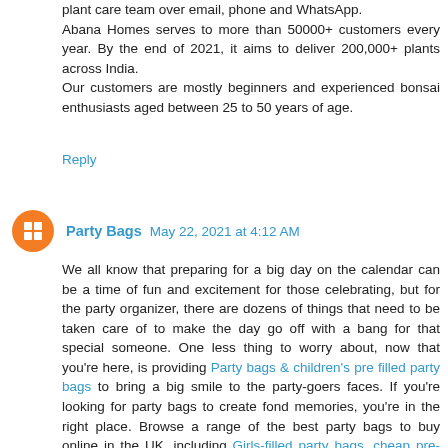plant care team over email, phone and WhatsApp. Abana Homes serves to more than 50000+ customers every year. By the end of 2021, it aims to deliver 200,000+ plants across India. Our customers are mostly beginners and experienced bonsai enthusiasts aged between 25 to 50 years of age.
Reply
Party Bags  May 22, 2021 at 4:12 AM
We all know that preparing for a big day on the calendar can be a time of fun and excitement for those celebrating, but for the party organizer, there are dozens of things that need to be taken care of to make the day go off with a bang for that special someone. One less thing to worry about, now that you're here, is providing Party bags & children's pre filled party bags to bring a big smile to the party-goers faces. If you're looking for party bags to create fond memories, you're in the right place. Browse a range of the best party bags to buy online in the UK, including Girls-filled party bags, cheap pre-filled party bags and browse many